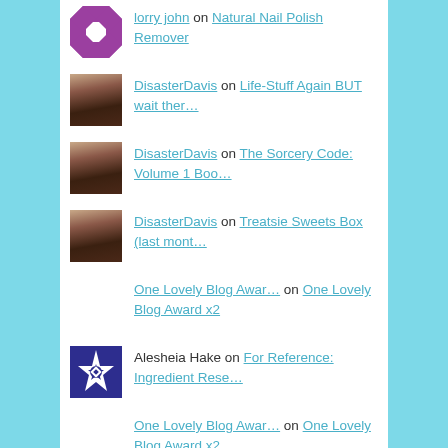lorry john on Natural Nail Polish Remover
DisasterDavis on Life-Stuff Again BUT wait ther…
DisasterDavis on The Sorcery Code: Volume 1 Boo…
DisasterDavis on Treatsie Sweets Box (last mont…
One Lovely Blog Awar… on One Lovely Blog Award x2
Alesheia Hake on For Reference: Ingredient Rese…
One Lovely Blog Awar… on One Lovely Blog Award x2